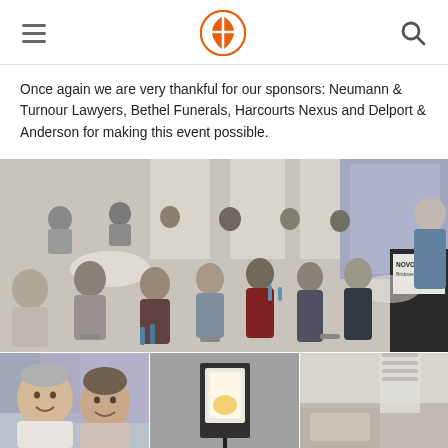Navigation header with hamburger menu, orange logo, and search icon
Once again we are very thankful for our sponsors: Neumann & Turnour Lawyers, Bethel Funerals, Harcourts Nexus and Delport & Anderson for making this event possible.
[Figure (photo): Large event photo showing audience seated at round tables in a conference room at Novotel, with a speaker at a podium on the right side. Multiple rows of attendees are visible.]
[Figure (photo): Bottom left photo showing two smiling people, an older man and a woman, with a purple/blue background screen behind them.]
[Figure (photo): Bottom center photo showing a podium or display stand with a screen/tablet at an event.]
[Figure (photo): Bottom right photo showing part of the event venue interior.]